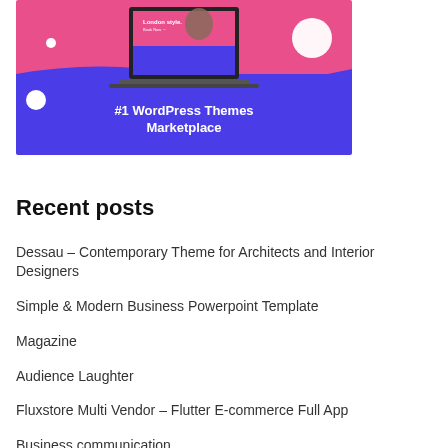[Figure (screenshot): Banner image showing a laptop with a pink and purple background, white decorative circles, and text '#1 WordPress Themes Marketplace']
Recent posts
Dessau – Contemporary Theme for Architects and Interior Designers
Simple & Modern Business Powerpoint Template
Magazine
Audience Laughter
Fluxstore Multi Vendor – Flutter E-commerce Full App
Business communication